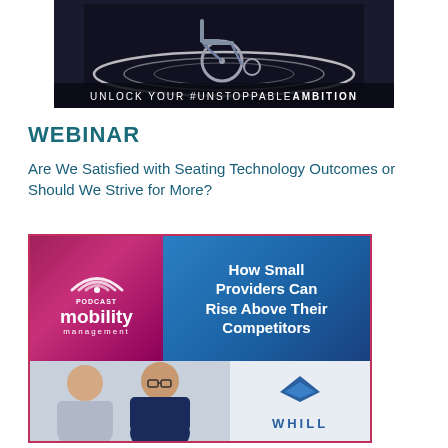[Figure (illustration): Advertisement image with wheelchair on dark background and text 'UNLOCK YOUR #UNSTOPPABLE AMBITION']
WEBINAR
Are We Satisfied with Seating Technology Outcomes or Should We Strive for More?
[Figure (illustration): Podcast Mobility Management advertisement featuring 'How Small Providers Can Rise Above Their Competitors' with WHILL logo and two people]